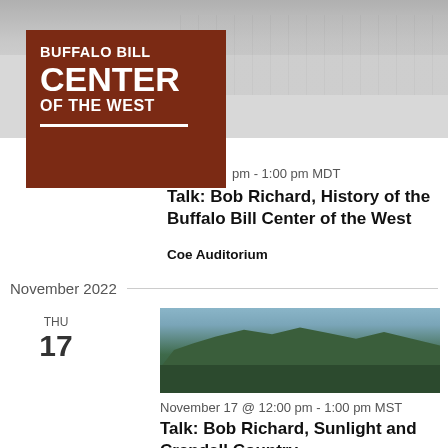[Figure (photo): Black and white winter aerial/exterior photo of a large building complex with snow]
[Figure (logo): Buffalo Bill Center of the West logo — brown background with white bold text]
pm - 1:00 pm MDT
Talk: Bob Richard, History of the Buffalo Bill Center of the West
Coe Auditorium
November 2022
THU
17
[Figure (photo): Color photo of mountain range with snow-capped peaks and forested foreground]
November 17 @ 12:00 pm - 1:00 pm MST
Talk: Bob Richard, Sunlight and Crandall Country
Coe Auditorium
December 2022